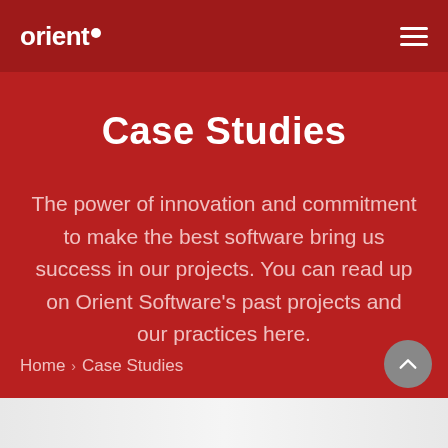orient● (logo) with hamburger menu
Case Studies
The power of innovation and commitment to make the best software bring us success in our projects. You can read up on Orient Software's past projects and our practices here.
Home › Case Studies